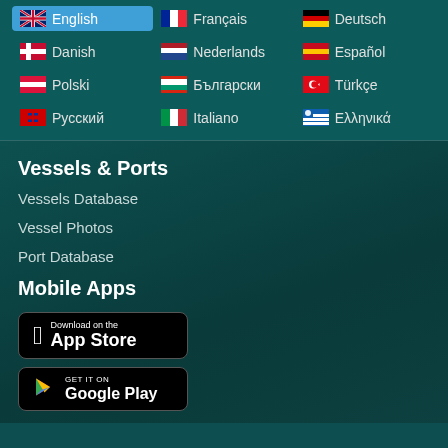English
Français
Deutsch
Danish
Nederlands
Español
Polski
Български
Türkçe
Русский
Italiano
Ελληνικά
Vessels & Ports
Vessels Database
Vessel Photos
Port Database
Mobile Apps
[Figure (screenshot): Download on the App Store badge]
[Figure (screenshot): Get it on Google Play badge]